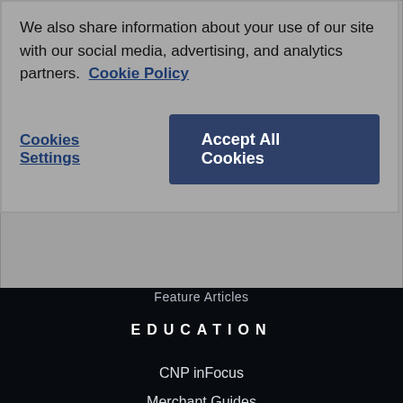We also share information about your use of our site with our social media, advertising, and analytics partners. Cookie Policy
Cookies Settings
Accept All Cookies
Feature Articles
EDUCATION
CNP inFocus
Merchant Guides
Webinars
Ebooks
CONTACT US
Subscribe
Partnerships